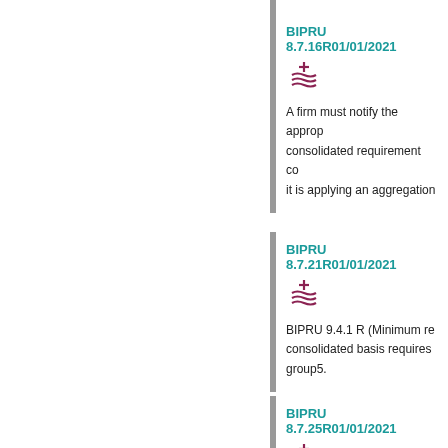BIPRU 8.7.16R01/01/2021
A firm must notify the appro... consolidated requirement co... it is applying an aggregation...
BIPRU 8.7.21R01/01/2021
BIPRU 9.4.1 R (Minimum re... consolidated basis requires ... group5.
BIPRU 8.7.25R01/01/2021